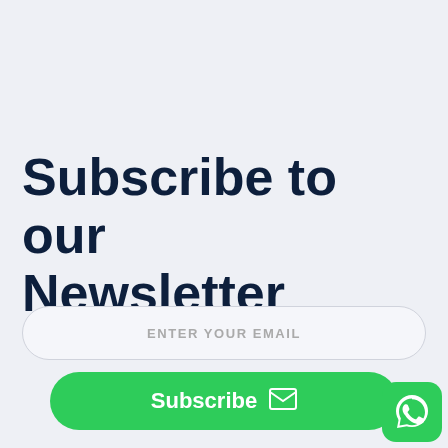Subscribe to our Newsletter
ENTER YOUR EMAIL
Subscribe
[Figure (logo): WhatsApp icon — green rounded square with white WhatsApp phone handset logo]